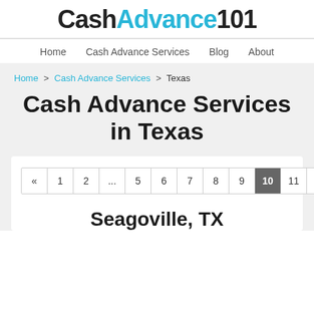CashAdvance101
Home   Cash Advance Services   Blog   About
Home > Cash Advance Services > Texas
Cash Advance Services in Texas
« 1 2 ... 5 6 7 8 9 10 11 12 »
Seagoville, TX